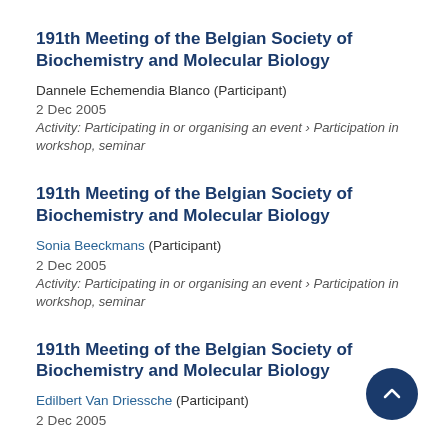191th Meeting of the Belgian Society of Biochemistry and Molecular Biology
Dannele Echemendia Blanco (Participant)
2 Dec 2005
Activity: Participating in or organising an event › Participation in workshop, seminar
191th Meeting of the Belgian Society of Biochemistry and Molecular Biology
Sonia Beeckmans (Participant)
2 Dec 2005
Activity: Participating in or organising an event › Participation in workshop, seminar
191th Meeting of the Belgian Society of Biochemistry and Molecular Biology
Edilbert Van Driessche (Participant)
2 Dec 2005